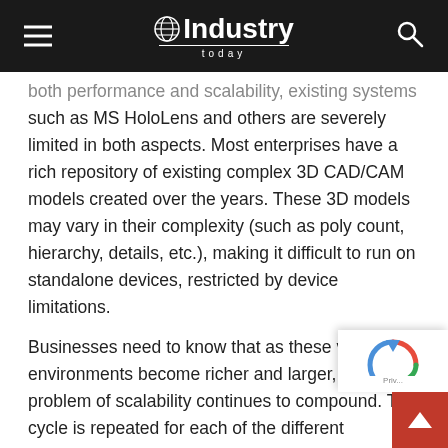Industry Today
both performance and scalability, existing systems such as MS HoloLens and others are severely limited in both aspects. Most enterprises have a rich repository of existing complex 3D CAD/CAM models created over the years. These 3D models may vary in their complexity (such as poly count, hierarchy, details, etc.), making it difficult to run on standalone devices, restricted by device limitations.
Businesses need to know that as these virtual environments become richer and larger, the problem of scalability continues to compound. This cycle is repeated for each of the different hardware platforms, making it difficult for any enterprise to move from experimental pilots to full-scale deployable solutions, thus stunting t